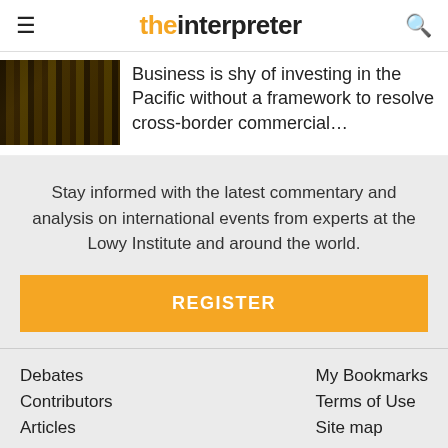the interpreter
Business is shy of investing in the Pacific without a framework to resolve cross-border commercial…
Stay informed with the latest commentary and analysis on international events from experts at the Lowy Institute and around the world.
REGISTER
Debates
Contributors
Articles
About
Comments Policy
My Bookmarks
Terms of Use
Site map
My Admin
Log In